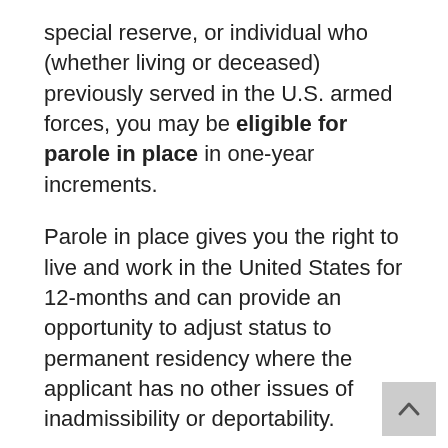special reserve, or individual who (whether living or deceased) previously served in the U.S. armed forces, you may be eligible for parole in place in one-year increments.
Parole in place gives you the right to live and work in the United States for 12-months and can provide an opportunity to adjust status to permanent residency where the applicant has no other issues of inadmissibility or deportability.
Be aware: ONLY A LICENSED ATTORNEY CAN GIVE LEGAL ADVICE. Please don't become a victim of Notario fraud.